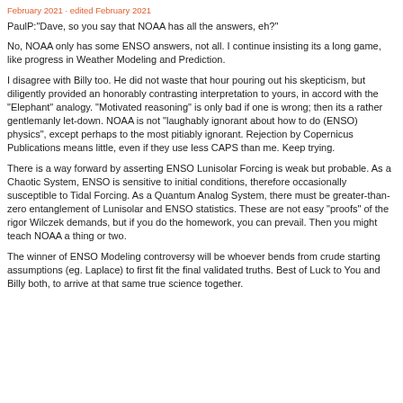February 2021 · edited February 2021
PaulP:"Dave, so you say that NOAA has all the answers, eh?"
No, NOAA only has some ENSO answers, not all. I continue insisting its a long game, like progress in Weather Modeling and Prediction.
I disagree with Billy too. He did not waste that hour pouring out his skepticism, but diligently provided an honorably contrasting interpretation to yours, in accord with the "Elephant" analogy. "Motivated reasoning" is only bad if one is wrong; then its a rather gentlemanly let-down. NOAA is not "laughably ignorant about how to do (ENSO) physics", except perhaps to the most pitiably ignorant. Rejection by Copernicus Publications means little, even if they use less CAPS than me. Keep trying.
There is a way forward by asserting ENSO Lunisolar Forcing is weak but probable. As a Chaotic System, ENSO is sensitive to initial conditions, therefore occasionally susceptible to Tidal Forcing. As a Quantum Analog System, there must be greater-than-zero entanglement of Lunisolar and ENSO statistics. These are not easy "proofs" of the rigor Wilczek demands, but if you do the homework, you can prevail. Then you might teach NOAA a thing or two.
The winner of ENSO Modeling controversy will be whoever bends from crude starting assumptions (eg. Laplace) to first fit the final validated truths. Best of Luck to You and Billy both, to arrive at that same true science together.